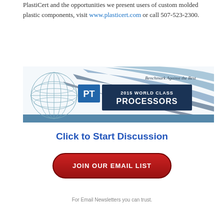PlastiCert and the opportunities we present users of custom molded plastic components, visit www.plasticert.com or call 507-523-2300.
[Figure (logo): PT 2015 World Class Processors banner with globe graphic and tagline 'Benchmark Against the Best']
Click to Start Discussion
JOIN OUR EMAIL LIST
For Email Newsletters you can trust.